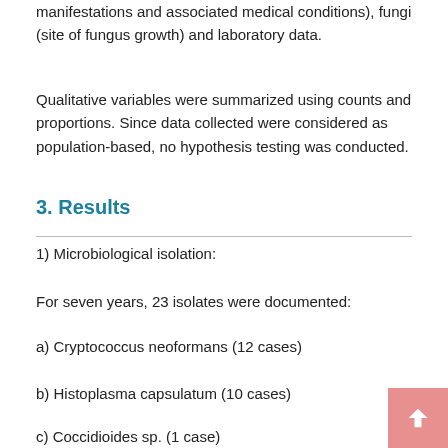manifestations and associated medical conditions), fungi (site of fungus growth) and laboratory data.
Qualitative variables were summarized using counts and proportions. Since data collected were considered as population-based, no hypothesis testing was conducted.
3. Results
1) Microbiological isolation:
For seven years, 23 isolates were documented:
a) Cryptococcus neoformans (12 cases)
b) Histoplasma capsulatum (10 cases)
c) Coccidioides sp. (1 case)